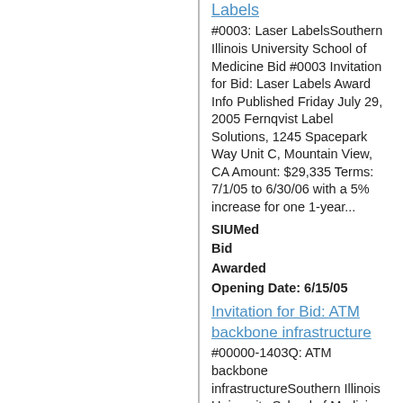Labels
#0003: Laser LabelsSouthern Illinois University School of Medicine Bid #0003 Invitation for Bid: Laser Labels Award Info Published Friday July 29, 2005 Fernqvist Label Solutions, 1245 Spacepark Way Unit C, Mountain View, CA Amount: $29,335 Terms: 7/1/05 to 6/30/06 with a 5% increase for one 1-year...
SIUMed
Bid
Awarded
Opening Date: 6/15/05
Invitation for Bid: ATM backbone infrastructure
#00000-1403Q: ATM backbone infrastructureSouthern Illinois University School of Medicine Bid #00000-1403Q Invitation for Bid: ATM backbone infrastructure Award Info Published Thursday February 22, 2001